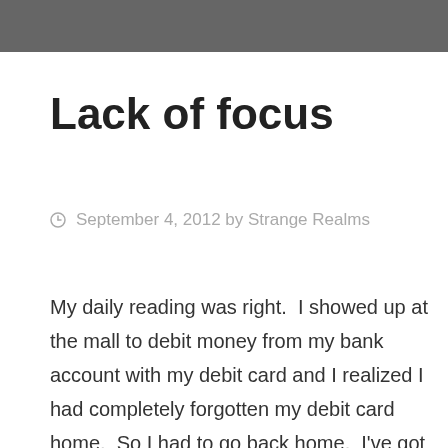Lack of focus
September 4, 2012 by Strange Realms
My daily reading was right.  I showed up at the mall to debit money from my bank account with my debit card and I realized I had completely forgotten my debit card home.  So I had to go back home.  I’ve got to admit I don’t feel too well, so I’ve decided to postpone to tomorrow the shopping and the grocery